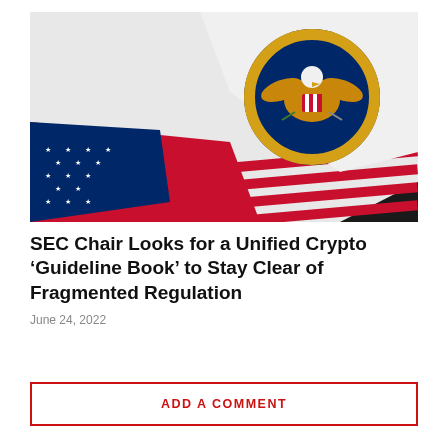[Figure (photo): Photo of a white fabric showing the U.S. Securities and Exchange Commission seal (gold eagle on blue background with text 'U.S. SECURITIES AND EXCHANGE COMMISSION · MCMXXXIV') draped over a folded American flag showing stars and red and white stripes, against a dark background.]
SEC Chair Looks for a Unified Crypto 'Guideline Book' to Stay Clear of Fragmented Regulation
June 24, 2022
ADD A COMMENT